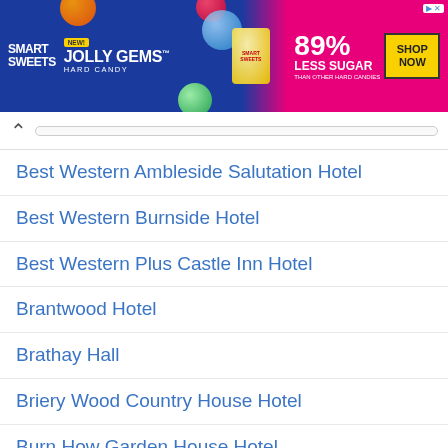[Figure (photo): Smart Sweets advertisement banner for Jolly Gems Hard Candy, 89% Less Sugar than other hard candies, with Shop Now button]
Best Western Ambleside Salutation Hotel
Best Western Burnside Hotel
Best Western Plus Castle Inn Hotel
Brantwood Hotel
Brathay Hall
Briery Wood Country House Hotel
Burn How Garden House Hotel
Castle Green Hotel
Cedar Manor Hotel and Restaurant
Clarence House